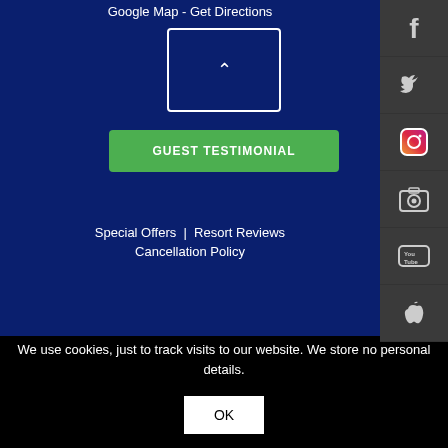Google Map - Get Directions
[Figure (other): Navigation arrow box / map carousel control with upward chevron arrow inside a white-bordered rectangle on dark navy background]
GUEST TESTIMONIAL
Special Offers | Resort Reviews
Cancellation Policy
[Figure (other): Social media sidebar icons: Facebook, Twitter, Instagram, Camera/Flickr, YouTube, Apple]
We use cookies, just to track visits to our website. We store no personal details.
OK